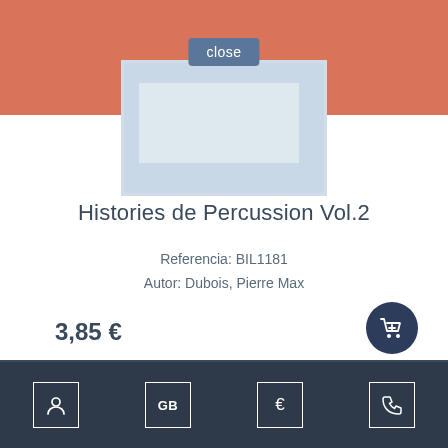[Figure (screenshot): Close button overlay on orange header bar with album cover image partially visible]
Histories de Percussion Vol.2
Referencia: BIL1181
Autor: Dubois, Pierre Max
3,85 €
[Figure (screenshot): Second album cover image partially visible at bottom with NEW badge and scroll-up button]
Navigation bar with user, GB, €, and phone icons